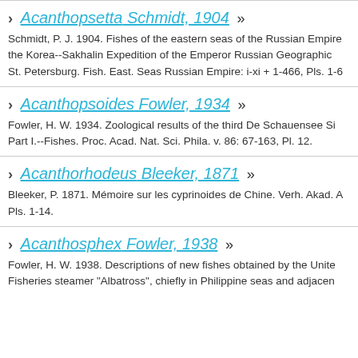Acanthopsetta Schmidt, 1904 »
Schmidt, P. J. 1904. Fishes of the eastern seas of the Russian Empire the Korea--Sakhalin Expedition of the Emperor Russian Geographic St. Petersburg. Fish. East. Seas Russian Empire: i-xi + 1-466, Pls. 1-6
Acanthopsoides Fowler, 1934 »
Fowler, H. W. 1934. Zoological results of the third De Schauensee Si Part I.--Fishes. Proc. Acad. Nat. Sci. Phila. v. 86: 67-163, Pl. 12.
Acanthorhodeus Bleeker, 1871 »
Bleeker, P. 1871. Mémoire sur les cyprinoides de Chine. Verh. Akad. A Pls. 1-14.
Acanthosphex Fowler, 1938 »
Fowler, H. W. 1938. Descriptions of new fishes obtained by the Unite Fisheries steamer "Albatross", chiefly in Philippine seas and adjacen